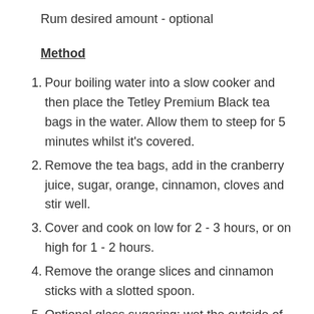Rum desired amount - optional
Method
Pour boiling water into a slow cooker and then place the Tetley Premium Black tea bags in the water. Allow them to steep for 5 minutes whilst it's covered.
Remove the tea bags, add in the cranberry juice, sugar, orange, cinnamon, cloves and stir well.
Cover and cook on low for 2 - 3 hours, or on high for 1 - 2 hours.
Remove the orange slices and cinnamon sticks with a slotted spoon.
Optional glass sugaring: wet the outside of your serving glasses with a fresh lemon wedge and fill a bowl with super fine sugar